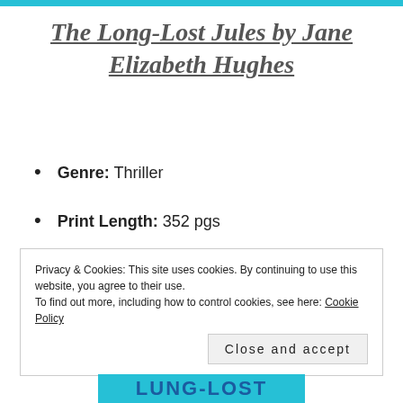The Long-Lost Jules by Jane Elizabeth Hughes
Genre: Thriller
Print Length: 352 pgs
Publisher: Spark
Publication Date: August 3, 2021
Privacy & Cookies: This site uses cookies. By continuing to use this website, you agree to their use.
To find out more, including how to control cookies, see here: Cookie Policy
[Figure (other): Partial book cover image showing 'LUNG-LOST' text on a teal/blue background strip at the bottom of the page]